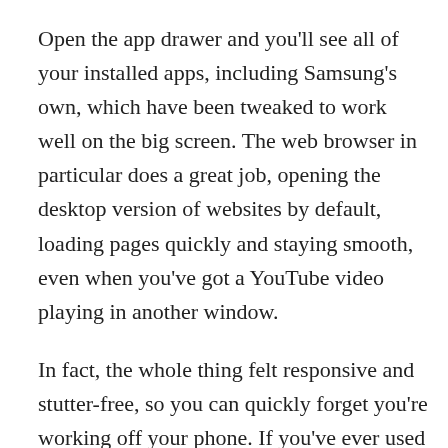Open the app drawer and you'll see all of your installed apps, including Samsung's own, which have been tweaked to work well on the big screen. The web browser in particular does a great job, opening the desktop version of websites by default, loading pages quickly and staying smooth, even when you've got a YouTube video playing in another window.
In fact, the whole thing felt responsive and stutter-free, so you can quickly forget you're working off your phone. If you've ever used a Chromebook, stick PC or thin client workstation computer, you'll